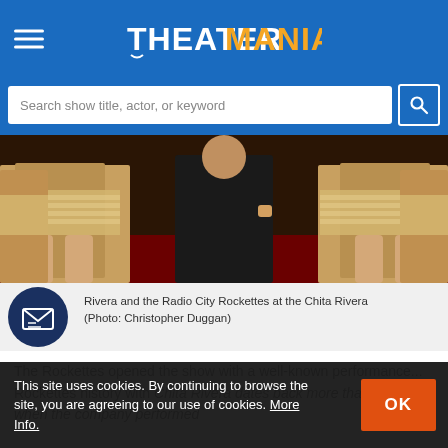THEATERMANIA
Search show title, actor, or keyword
[Figure (photo): Dancers in silver fringe costumes with a person in black center, legs visible, on a red carpet.]
Rivera and the Radio City Rockettes at the Chita Rivera (Photo: Christopher Duggan)
The Rockettes opened the show with a performance... Rockettes history with Chita Rivera dates back more than 30 years when the company performed...
This site uses cookies. By continuing to browse the site, you are agreeing to our use of cookies. More Info.